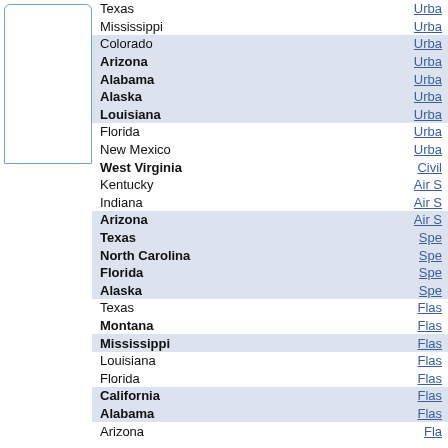| State | Program |
| --- | --- |
| Texas | Urba... |
| Mississippi | Urba... |
| Colorado | Urba... |
| Arizona | Urba... |
| Alabama | Urba... |
| Alaska | Urba... |
| Louisiana | Urba... |
| Florida | Urba... |
| New Mexico | Urba... |
| West Virginia | Civil... |
| Kentucky | Air S... |
| Indiana | Air S... |
| Arizona | Air S... |
| Texas | Spe... |
| North Carolina | Spe... |
| Florida | Spe... |
| Alaska | Spe... |
| Texas | Flas... |
| Montana | Flas... |
| Mississippi | Flas... |
| Louisiana | Flas... |
| Florida | Flas... |
| California | Flas... |
| Alabama | Flas... |
| Arizona | Fla... |